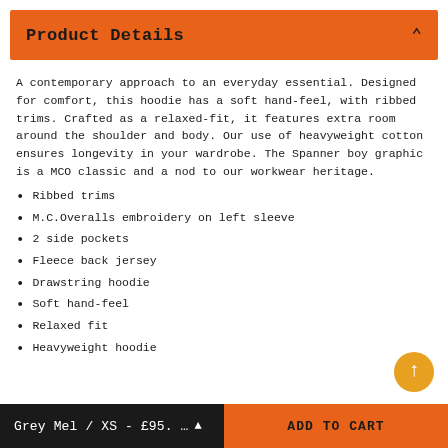Product Details
A contemporary approach to an everyday essential. Designed for comfort, this hoodie has a soft hand-feel, with ribbed trims. Crafted as a relaxed-fit, it features extra room around the shoulder and body. Our use of heavyweight cotton ensures longevity in your wardrobe. The Spanner boy graphic is a MCO classic and a nod to our workwear heritage.
Ribbed trims
M.C.Overalls embroidery on left sleeve
2 side pockets
Fleece back jersey
Drawstring hoodie
Soft hand-feel
Relaxed fit
Heavyweight hoodie
Grey Mel / XS - £95.... ADD TO CART